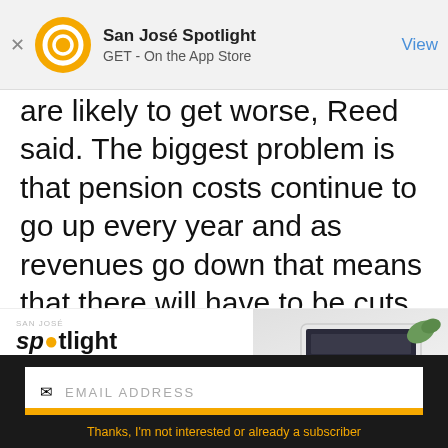[Figure (screenshot): App store banner for San José Spotlight with orange circular logo, app name, GET - On the App Store subtitle, and blue View button]
are likely to get worse, Reed said. The biggest problem is that pension costs continue to go up every year and as revenues go down that means that there will have to be cuts in lots of other places
[Figure (screenshot): San José Spotlight advertisement banner showing logo, tagline 'Where San Jose locals start the day.' and sanjosespotlight.com URL with tablet/coffee image on right]
[Figure (screenshot): Email subscription form with EMAIL ADDRESS placeholder, SUBSCRIBE button in yellow, and 'Thanks, I'm not interested or already a subscriber' link at bottom on dark background]